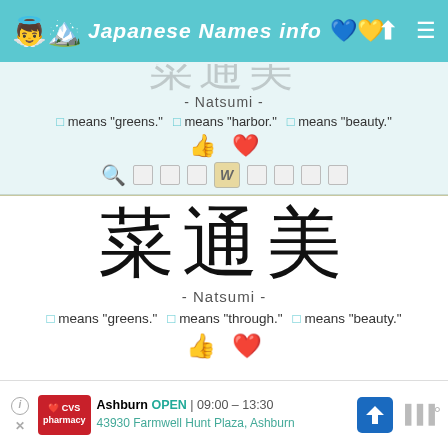Japanese Names info
[Figure (other): Partially visible kanji characters at top (cropped)]
- Natsumi -
□ means "greens."  □ means "harbor."  □ means "beauty."
[Figure (other): Thumbs up and heart icons]
[Figure (other): Search and tool icons row]
[Figure (other): Large kanji: 菜通美]
- Natsumi -
□ means "greens."  □ means "through."  □ means "beauty."
[Figure (other): Thumbs up and heart icons]
[Figure (other): CVS Pharmacy advertisement: Ashburn OPEN 09:00-13:30, 43930 Farmwell Hunt Plaza, Ashburn]